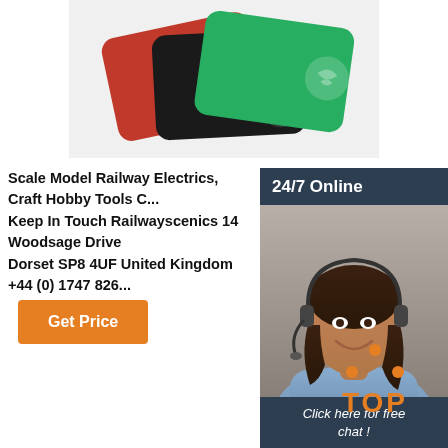[Figure (photo): Stack of colored (red, black, green) rounded rectangular cards/devices viewed from above]
Scale Model Railway Electrics, Craft Hobby Tools C... Keep In Touch Railwayscenics 14 Woodsage Drive Dorset SP8 4UF United Kingdom +44 (0) 1747 826...
[Figure (photo): Customer service widget: '24/7 Online' header in dark blue panel, photo of smiling woman with headset, 'Click here for free chat!' text, orange QUOTATION button]
Get Price
[Figure (other): Orange TOP button/icon with dots arranged in a triangle above the word TOP]